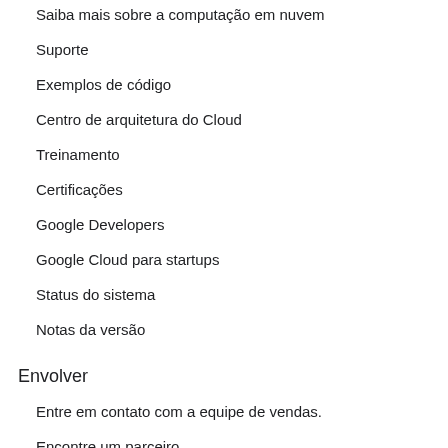Saiba mais sobre a computação em nuvem
Suporte
Exemplos de código
Centro de arquitetura do Cloud
Treinamento
Certificações
Google Developers
Google Cloud para startups
Status do sistema
Notas da versão
Envolver
Entre em contato com a equipe de vendas.
Encontre um parceiro
Seja um parceiro